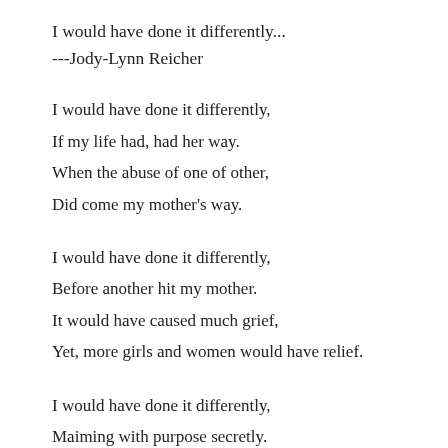I would have done it differently...
---Jody-Lynn Reicher
I would have done it differently,
If my life had, had her way.
When the abuse of one of other,
Did come my mother's way.
I would have done it differently,
Before another hit my mother.
It would have caused much grief,
Yet, more girls and women would have relief.
I would have done it differently,
Maiming with purpose secretly.